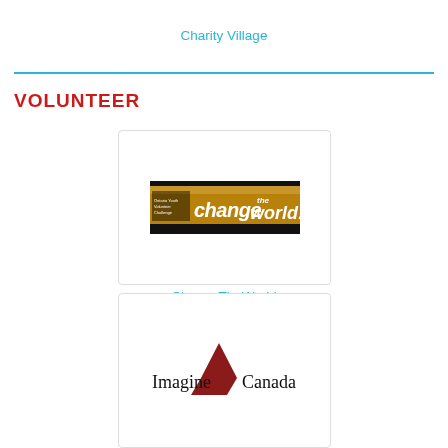Charity Village
VOLUNTEER
[Figure (logo): ChangeTheWorld - Ontario Youth Volunteer Challenge banner with golden background and stylized text]
ChangeTheWorld
[Figure (logo): Imagine Canada logo with red triangle/arrow shape]